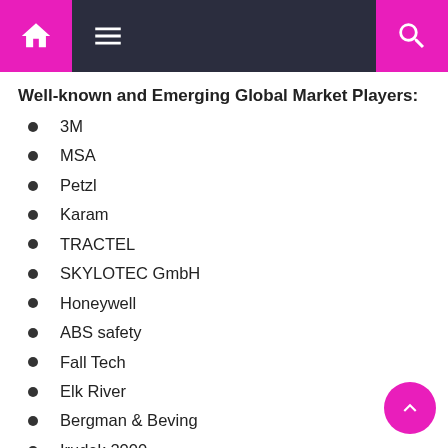Navigation bar with home, menu, and search icons
Well-known and Emerging Global Market Players:
3M
MSA
Petzl
Karam
TRACTEL
SKYLOTEC GmbH
Honeywell
ABS safety
Fall Tech
Elk River
Bergman & Beving
Irudek 2000
Guardian
GEMTOR